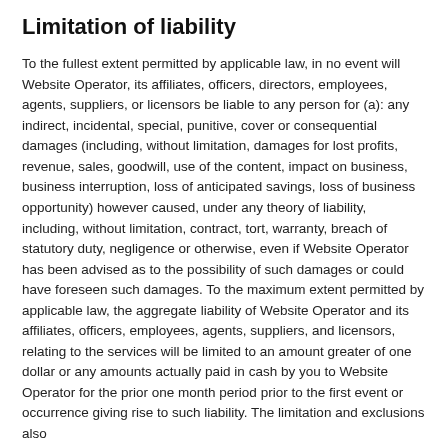Limitation of liability
To the fullest extent permitted by applicable law, in no event will Website Operator, its affiliates, officers, directors, employees, agents, suppliers, or licensors be liable to any person for (a): any indirect, incidental, special, punitive, cover or consequential damages (including, without limitation, damages for lost profits, revenue, sales, goodwill, use of the content, impact on business, business interruption, loss of anticipated savings, loss of business opportunity) however caused, under any theory of liability, including, without limitation, contract, tort, warranty, breach of statutory duty, negligence or otherwise, even if Website Operator has been advised as to the possibility of such damages or could have foreseen such damages. To the maximum extent permitted by applicable law, the aggregate liability of Website Operator and its affiliates, officers, employees, agents, suppliers, and licensors, relating to the services will be limited to an amount greater of one dollar or any amounts actually paid in cash by you to Website Operator for the prior one month period prior to the first event or occurrence giving rise to such liability. The limitation and exclusions also